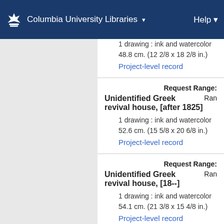Columbia University Libraries  Help
1 drawing : ink and watercolor 48.8 cm. (12 2/8 x 18 2/8 in.)
Project-level record
Request Range:
Unidentified Greek revival house, [after 1825]
Ran
1 drawing : ink and watercolor 52.6 cm. (15 5/8 x 20 6/8 in.)
Project-level record
Request Range:
Unidentified Greek revival house, [18--]
Ran
1 drawing : ink and watercolor 54.1 cm. (21 3/8 x 15 4/8 in.)
Project-level record